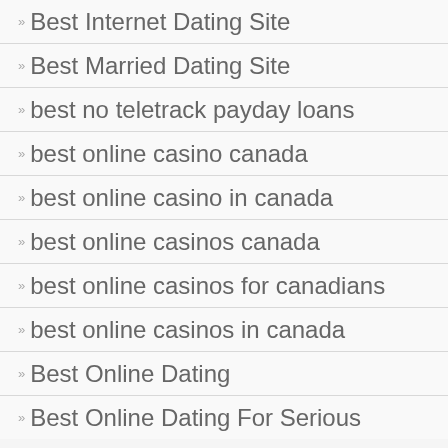Best Internet Dating Site
Best Married Dating Site
best no teletrack payday loans
best online casino canada
best online casino in canada
best online casinos canada
best online casinos for canadians
best online casinos in canada
Best Online Dating
Best Online Dating For Serious